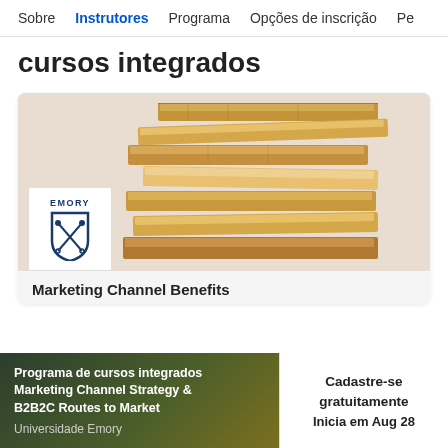Sobre  Instrutores  Programa  Opções de inscrição  Pe
cursos integrados
[Figure (photo): Stacked wooden Jenga-like blocks forming a tower, with the Emory University logo badge overlaid at the bottom left of the card.]
Marketing Channel Benefits
Programa de cursos integrados Marketing Channel Strategy & B2B2C Routes to Market
Universidade Emory
Cadastre-se gratuitamente
Inicia em Aug 28